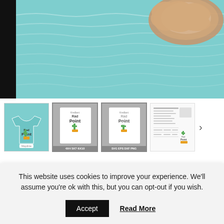[Figure (photo): Product main image showing a teal blue textured surface with a wooden decorative piece in the upper right corner. Left side is dark/black.]
[Figure (photo): Thumbnail row showing 4 product thumbnails: (1) teal shirt with Rad Point cactus design, (2) embroidery file preview with sizes 4x4 5x7 6x10, (3) cutting file preview with SVG EPS DXF PNG label, (4) instruction/readme sheet preview. Arrow button on right.]
$3.50 - $6.50
OR 4 INTEREST-FREE PAYMENTS OF $0.88 - $1.63 WITH sezzle
This website uses cookies to improve your experience. We'll assume you're ok with this, but you can opt-out if you wish.